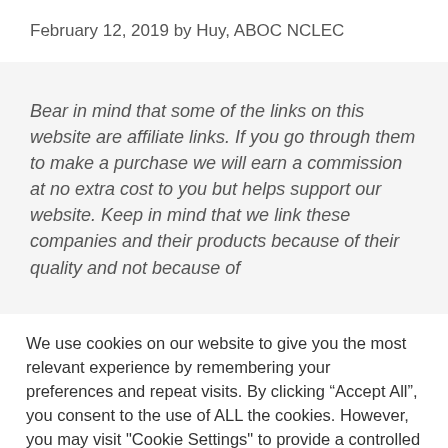February 12, 2019 by Huy, ABOC NCLEC
Bear in mind that some of the links on this website are affiliate links. If you go through them to make a purchase we will earn a commission at no extra cost to you but helps support our website. Keep in mind that we link these companies and their products because of their quality and not because of
We use cookies on our website to give you the most relevant experience by remembering your preferences and repeat visits. By clicking “Accept All”, you consent to the use of ALL the cookies. However, you may visit "Cookie Settings" to provide a controlled consent.